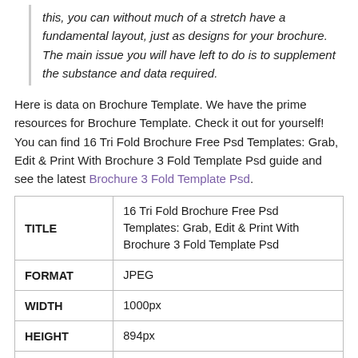this, you can without much of a stretch have a fundamental layout, just as designs for your brochure. The main issue you will have left to do is to supplement the substance and data required.
Here is data on Brochure Template. We have the prime resources for Brochure Template. Check it out for yourself! You can find 16 Tri Fold Brochure Free Psd Templates: Grab, Edit & Print With Brochure 3 Fold Template Psd guide and see the latest Brochure 3 Fold Template Psd.
|  |  |
| --- | --- |
| TITLE | 16 Tri Fold Brochure Free Psd Templates: Grab, Edit & Print With Brochure 3 Fold Template Psd |
| FORMAT | JPEG |
| WIDTH | 1000px |
| HEIGHT | 894px |
| URL | https://douglasbaseball.com/wp-content/uploads/2019/12/16-tri-fold-brochure- |